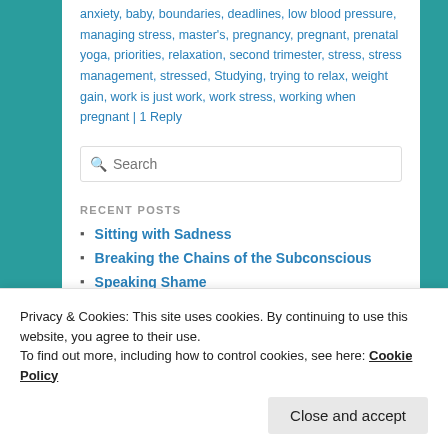anxiety, baby, boundaries, deadlines, low blood pressure, managing stress, master's, pregnancy, pregnant, prenatal yoga, priorities, relaxation, second trimester, stress, stress management, stressed, Studying, trying to relax, weight gain, work is just work, work stress, working when pregnant | 1 Reply
Search
RECENT POSTS
Sitting with Sadness
Breaking the Chains of the Subconscious
Speaking Shame
Overcome, Self-belief and Sunscreen (partial)
Privacy & Cookies: This site uses cookies. By continuing to use this website, you agree to their use.
To find out more, including how to control cookies, see here: Cookie Policy
Close and accept